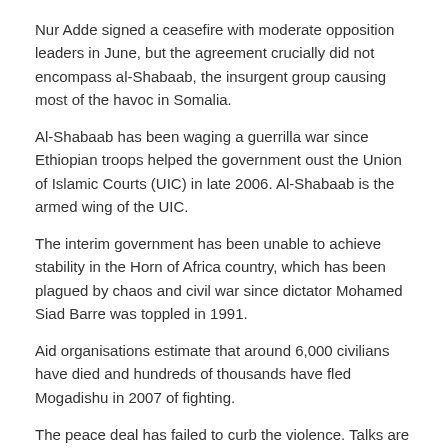Nur Adde signed a ceasefire with moderate opposition leaders in June, but the agreement crucially did not encompass al-Shabaab, the insurgent group causing most of the havoc in Somalia.
Al-Shabaab has been waging a guerrilla war since Ethiopian troops helped the government oust the Union of Islamic Courts (UIC) in late 2006. Al-Shabaab is the armed wing of the UIC.
The interim government has been unable to achieve stability in the Horn of Africa country, which has been plagued by chaos and civil war since dictator Mohamed Siad Barre was toppled in 1991.
Aid organisations estimate that around 6,000 civilians have died and hundreds of thousands have fled Mogadishu in 2007 of fighting.
The peace deal has failed to curb the violence. Talks are set to take place this weekend in neighbouring Djibouti with a view to improving the security situation.
Etiquettes : 461, observatoire
Partager cet entrée